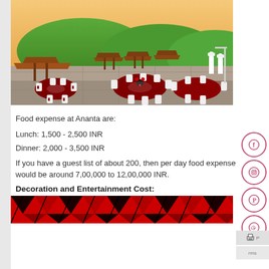[Figure (photo): Outdoor banquet/wedding venue setup with thatched hut gazebos, round tables with dark red tablecloths and white chair covers, green hills backdrop, chefs in white uniforms on right, sunset sky.]
Food expense at Ananta are:
Lunch: 1,500 - 2,500 INR
Dinner: 2,000 - 3,500 INR
If you have a guest list of about 200, then per day food expense would be around 7,00,000 to 12,00,000 INR.
Decoration and Entertainment Cost:
[Figure (photo): Bottom portion of a red and black thatched roof structure/umbrella, viewed from below showing geometric triangular pattern.]